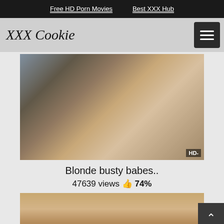Free HD Porn Movies   Best XXX Hub
XXX Cookie
[Figure (photo): Screenshot of adult video website XXX Cookie showing a video thumbnail of blonde women, with navigation bar and menu button]
Blonde busty babes..
47639 views 👍 74%
[Figure (photo): Second video thumbnail partially visible at bottom of page]